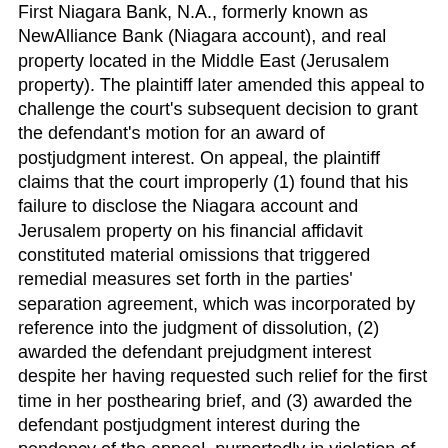First Niagara Bank, N.A., formerly known as NewAlliance Bank (Niagara account), and real property located in the Middle East (Jerusalem property). The plaintiff later amended this appeal to challenge the court's subsequent decision to grant the defendant's motion for an award of postjudgment interest. On appeal, the plaintiff claims that the court improperly (1) found that his failure to disclose the Niagara account and Jerusalem property on his financial affidavit constituted material omissions that triggered remedial measures set forth in the parties' separation agreement, which was incorporated by reference into the judgment of dissolution, (2) awarded the defendant prejudgment interest despite her having requested such relief for the first time in her posthearing brief, and (3) awarded the defendant postjudgment interest during the pendency of the appeal, purportedly in violation of the automatic appellate stay. We reject the plaintiff's claims and, accordingly, affirm the judgment of the trial court.")
AC41050 - Oudheusden v. Oudheusden ("The defendant, Peter Oudheusden, appeals from the judgment of the trial court dissolving his marriage to the plaintiff, Penny Oudheusden, and entering certain financial orders. On appeal, the defendant